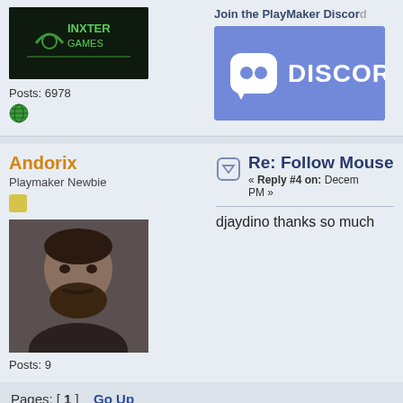[Figure (logo): Inxter Games logo - dark green background with game controller icon and text INXTER GAMES]
Posts: 6978
[Figure (illustration): Globe/web icon in green]
Join the PlayMaker Discord
[Figure (logo): Discord logo banner with purple/blue background and DISCORD text with logo]
Andorix
Playmaker Newbie
[Figure (photo): Profile photo of a man with beard and mustache]
Posts: 9
Re: Follow Mouse
« Reply #4 on: Decem PM »
djaydino thanks so much
Pages: [1]   Go Up